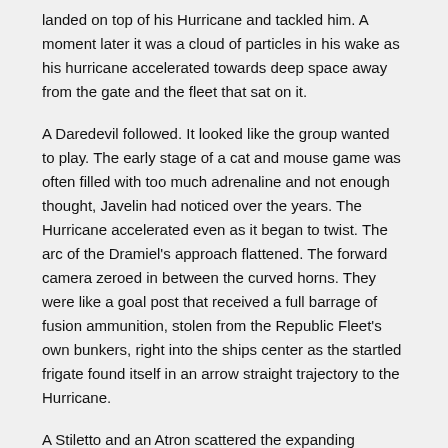landed on top of his Hurricane and tackled him. A moment later it was a cloud of particles in his wake as his hurricane accelerated towards deep space away from the gate and the fleet that sat on it.
A Daredevil followed. It looked like the group wanted to play. The early stage of a cat and mouse game was often filled with too much adrenaline and not enough thought, Javelin had noticed over the years. The Hurricane accelerated even as it began to twist. The arc of the Dramiel's approach flattened. The forward camera zeroed in between the curved horns. They were like a goal post that received a full barrage of fusion ammunition, stolen from the Republic Fleet's own bunkers, right into the ships center as the startled frigate found itself in an arrow straight trajectory to the Hurricane.
A Stiletto and an Atron scattered the expanding particle cloud that had been the Dramiel. The Atron curved in close. He unfettered his microwarpdrive as it landed a stasis webifier. The Stiletto he ignored for the moment. It looked as if a warp disruptor would halt plans to escape. If escape had been his goal. Instead he unleashed a flight of Warrior II drones on the Stiletto and locked the Atron. The little ship buzzed in tight. It stayed tight against his hull, his slowed speed easy to match. The rest of the ships started drawing closer. Small things were